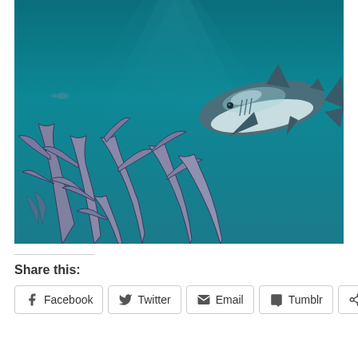[Figure (illustration): Digital illustration of an underwater ocean scene with a shark swimming in teal-blue water above bleached/dead coral formations in the lower left. The coral is depicted in muted purple-grey tones with branching structures. The shark is rendered with shimmering light reflections on its body. Faint sun rays beam down from the upper portion of the image.]
Share this:
Facebook
Twitter
Email
Tumblr
More